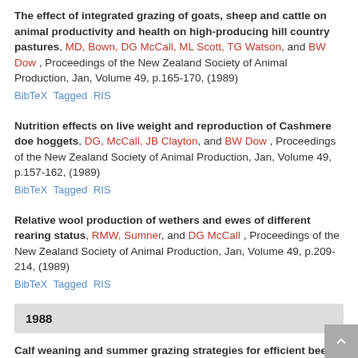The effect of integrated grazing of goats, sheep and cattle on animal productivity and health on high-producing hill country pastures, MD, Bown, DG McCall, ML Scott, TG Watson, and BW Dow , Proceedings of the New Zealand Society of Animal Production, Jan, Volume 49, p.165-170, (1989)
BibTeX Tagged RIS
Nutrition effects on live weight and reproduction of Cashmere doe hoggets, DG, McCall, JB Clayton, and BW Dow , Proceedings of the New Zealand Society of Animal Production, Jan, Volume 49, p.157-162, (1989)
BibTeX Tagged RIS
Relative wool production of wethers and ewes of different rearing status, RMW, Sumner, and DG McCall , Proceedings of the New Zealand Society of Animal Production, Jan, Volume 49, p.209-214, (1989)
BibTeX Tagged RIS
1988
Calf weaning and summer grazing strategies for efficient beef cow use on hill country, DG, McCall, ML Scott, and BW Dow , Proceedings of the New Zealand Society of Animal Production,